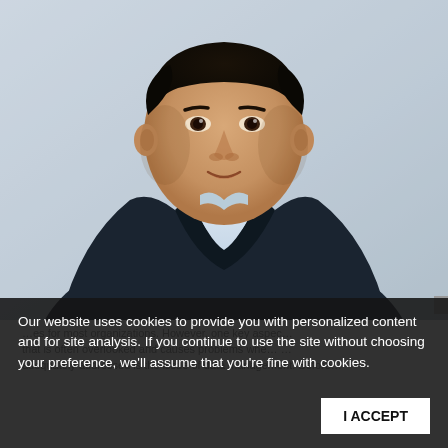[Figure (photo): Professional headshot of an Asian man in a dark navy blazer and light blue collared shirt, against a light gray/white background. He is smiling slightly, short dark hair, middle-aged appearance.]
Our website uses cookies to provide you with personalized content and for site analysis. If you continue to use the site without choosing your preference, we'll assume that you're fine with cookies.
…es for most organizations. However, one key aspec…
that is often overlooked and causes problems whe… …adequately addressed is the issue of data management. Before…